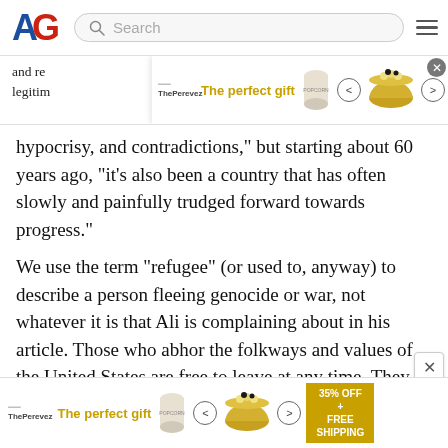[Figure (logo): AG logo with blue A and red G letters]
[Figure (screenshot): Search bar with magnifying glass icon]
[Figure (advertisement): The perfect gift ad banner with bowl image, arrows, 35% OFF FREE SHIPPING offer]
and re... legitim... ence, hypocrisy, and contradictions,” but starting about 60 years ago, “it’s also been a country that has often slowly and painfully trudged forward towards progress.”
We use the term “refugee” (or used to, anyway) to describe a person fleeing genocide or war, not whatever it is that Ali is complaining about in his article. Those who abhor the folkways and values of the United States are free to leave at any time. They are not being held against their will. They can always find some other place to call home that is more suitable to their political and racial preferences. This is one luxury that most native-born
[Figure (advertisement): The perfect gift ad banner at bottom with bowl image, arrows, 35% OFF FREE SHIPPING offer]